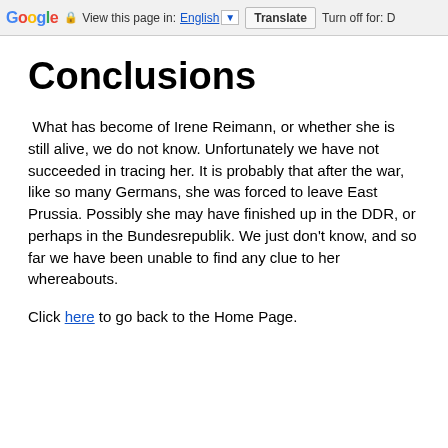Google  View this page in: English [▼]  Translate  Turn off for: D
Conclusions
What has become of Irene Reimann, or whether she is still alive, we do not know. Unfortunately we have not succeeded in tracing her. It is probably that after the war, like so many Germans, she was forced to leave East Prussia. Possibly she may have finished up in the DDR, or perhaps in the Bundesrepublik. We just don't know, and so far we have been unable to find any clue to her whereabouts.
Click here to go back to the Home Page.